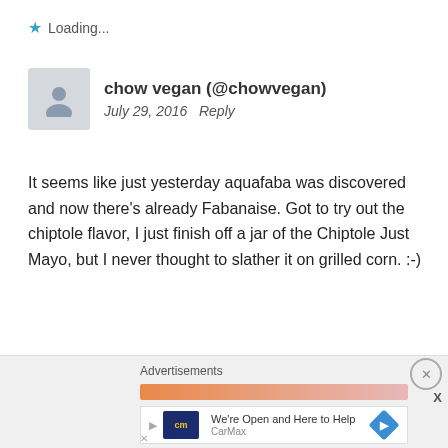Loading...
chow vegan (@chowvegan)
July 29, 2016   Reply
It seems like just yesterday aquafaba was discovered and now there’s already Fabanaise. Got to try out the chiptole flavor, I just finish off a jar of the Chiptole Just Mayo, but I never thought to slather it on grilled corn. :-)
Loading...
Advertisements
[Figure (screenshot): CarMax advertisement banner: cm logo, text 'We’re Open and Here to Help', navigation arrow icon, CarMax label]